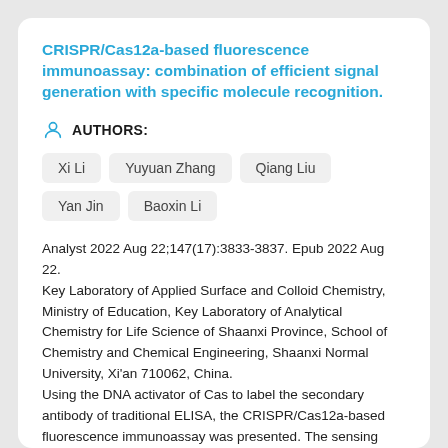CRISPR/Cas12a-based fluorescence immunoassay: combination of efficient signal generation with specific molecule recognition.
AUTHORS:
Xi Li
Yuyuan Zhang
Qiang Liu
Yan Jin
Baoxin Li
Analyst 2022 Aug 22;147(17):3833-3837. Epub 2022 Aug 22.
Key Laboratory of Applied Surface and Colloid Chemistry, Ministry of Education, Key Laboratory of Analytical Chemistry for Life Science of Shaanxi Province, School of Chemistry and Chemical Engineering, Shaanxi Normal University, Xi'an 710062, China.
Using the DNA activator of Cas to label the secondary antibody of traditional ELISA, the CRISPR/Cas12a-based fluorescence immunoassay was presented. The sensing